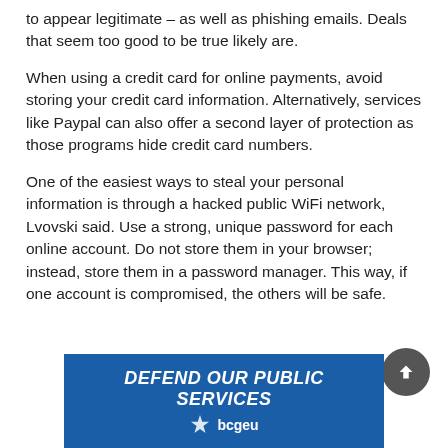to appear legitimate – as well as phishing emails. Deals that seem too good to be true likely are.
When using a credit card for online payments, avoid storing your credit card information. Alternatively, services like Paypal can also offer a second layer of protection as those programs hide credit card numbers.
One of the easiest ways to steal your personal information is through a hacked public WiFi network, Lvovski said. Use a strong, unique password for each online account. Do not store them in your browser; instead, store them in a password manager. This way, if one account is compromised, the others will be safe.
[Figure (logo): DEFEND OUR PUBLIC SERVICES banner with bcgeu logo on blue background]